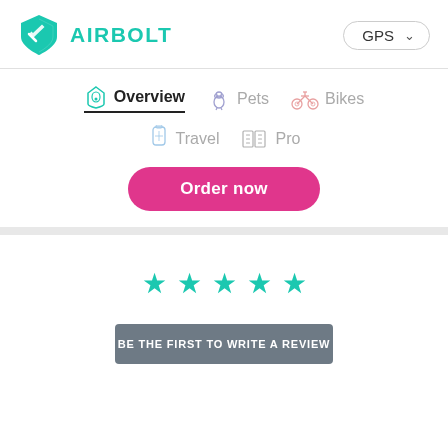[Figure (logo): AirBolt logo: teal shield with arrow icon and AIRBOLT text in teal]
GPS ∨
Overview  Pets  Bikes  Travel  Pro
Order now
[Figure (other): Five teal star icons representing a star rating display]
BE THE FIRST TO WRITE A REVIEW